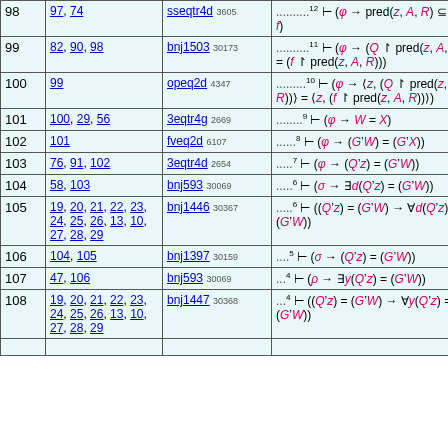| # | Refs | Rule | Formula |
| --- | --- | --- | --- |
| 98 | 97, 74 | sseqtr4d 3605 | ..........12 ⊢ (φ → pred(z, A, R) ⊆ dom f) |
| 99 | 82, 90, 98 | bnj1503 30173 | ..........11 ⊢ (φ → (Q ↾ pred(z, A, R)) = (f ↾ pred(z, A, R))) |
| 100 | 99 | opeq2d 4347 | ..........10 ⊢ (φ → ⟨z, (Q ↾ pred(z, A, R))⟩ = ⟨z, (f ↾ pred(z, A, R))⟩) |
| 101 | 100, 29, 56 | 3eqtr4g 2669 | ........9 ⊢ (φ → W = X) |
| 102 | 101 | fveq2d 6107 | ......8 ⊢ (φ → (G'W) = (G'X)) |
| 103 | 76, 91, 102 | 3eqtr4d 2654 | ......7 ⊢ (φ → (Q'z) = (G'W)) |
| 104 | 58, 103 | bnj593 30069 | .....6 ⊢ (σ → ∃d(Q'z) = (G'W)) |
| 105 | 19, 20, 21, 22, 23, 24, 25, 26, 13, 10, 27, 28, 29 | bnj1446 30367 | .....6 ⊢ ((Q'z) = (G'W) → ∀d(Q'z) = (G'W)) |
| 106 | 104, 105 | bnj1397 30159 | .....5 ⊢ (σ → (Q'z) = (G'W)) |
| 107 | 47, 106 | bnj593 30069 | ...4 ⊢ (ρ → ∃y(Q'z) = (G'W)) |
| 108 | 19, 20, 21, 22, 23, 24, 25, 26, 13, 10, 27, 28, 29 | bnj1447 30368 | ...4 ⊢ ((Q'z) = (G'W) → ∀y(Q'z) = (G'W)) |